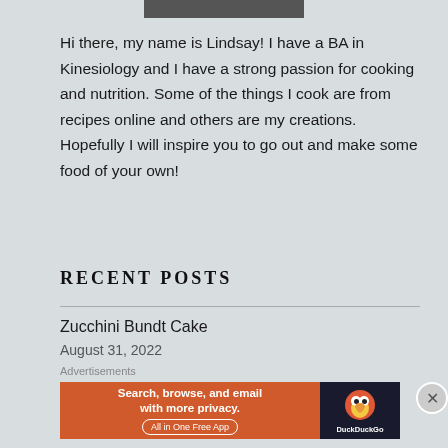[Figure (photo): Cropped photo strip at the top of the page showing the bottom of a person's clothing/torso area]
Hi there, my name is Lindsay! I have a BA in Kinesiology and I have a strong passion for cooking and nutrition. Some of the things I cook are from recipes online and others are my creations. Hopefully I will inspire you to go out and make some food of your own!
RECENT POSTS
Zucchini Bundt Cake
August 31, 2022
Advertisements
[Figure (screenshot): DuckDuckGo advertisement banner: orange background left section with text 'Search, browse, and email with more privacy. All in One Free App', dark right section with DuckDuckGo duck logo and brand name]